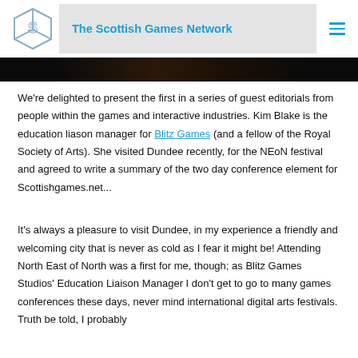The Scottish Games Network
[Figure (photo): Dark image strip, partial view of a photograph with dark/black background]
We're delighted to present the first in a series of guest editorials from people within the games and interactive industries. Kim Blake is the education liason manager for Blitz Games (and a fellow of the Royal Society of Arts). She visited Dundee recently, for the NEoN festival and agreed to write a summary of the two day conference element for Scottishgames.net...
It's always a pleasure to visit Dundee, in my experience a friendly and welcoming city that is never as cold as I fear it might be! Attending North East of North was a first for me, though; as Blitz Games Studios' Education Liaison Manager I don't get to go to many games conferences these days, never mind international digital arts festivals. Truth be told, I probably